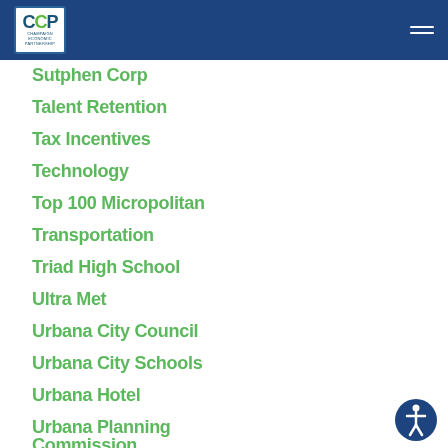CCP - Champaign Economic Partnership
Sutphen Corp
Talent Retention
Tax Incentives
Technology
Top 100 Micropolitan
Transportation
Triad High School
Ultra Met
Urbana City Council
Urbana City Schools
Urbana Hotel
Urbana Planning Commission